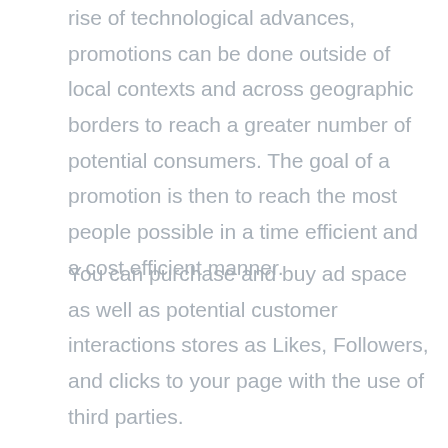rise of technological advances, promotions can be done outside of local contexts and across geographic borders to reach a greater number of potential consumers. The goal of a promotion is then to reach the most people possible in a time efficient and a cost efficient manner.
You can purchase and buy ad space as well as potential customer interactions stores as Likes, Followers, and clicks to your page with the use of third parties.
I am a blockquote. Click edit button to change this text. Lorem ipsum dolor